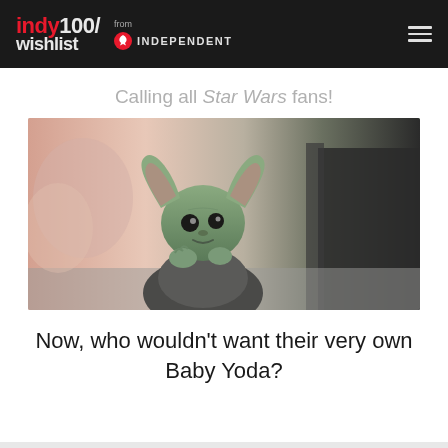indy100/wishlist from INDEPENDENT
Calling all Star Wars fans!
[Figure (photo): Baby Yoda (The Child) from The Mandalorian, a small green alien creature with large ears, looking upward with its hands near its chin, photographed against a blurred background]
Now, who wouldn't want their very own Baby Yoda?